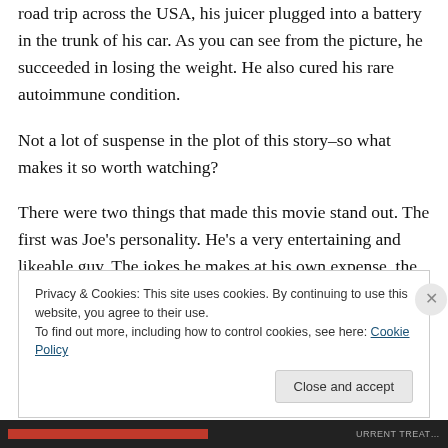road trip across the USA, his juicer plugged into a battery in the trunk of his car. As you can see from the picture, he succeeded in losing the weight. He also cured his rare autoimmune condition.
Not a lot of suspense in the plot of this story–so what makes it so worth watching?
There were two things that made this movie stand out. The first was Joe's personality. He's a very entertaining and likeable guy. The jokes he makes at his own expense, the genuinely caring conversations about health he has with
Privacy & Cookies: This site uses cookies. By continuing to use this website, you agree to their use.
To find out more, including how to control cookies, see here: Cookie Policy